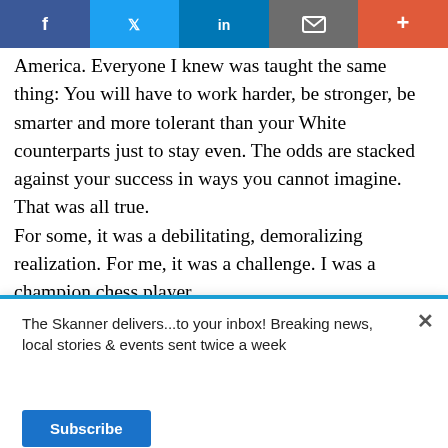[Figure (screenshot): Social media sharing bar with Facebook, Twitter, LinkedIn, email, and plus buttons]
America. Everyone I knew was taught the same thing: You will have to work harder, be stronger, be smarter and more tolerant than your White counterparts just to stay even. The odds are stacked against your success in ways you cannot imagine. That was all true.
For some, it was a debilitating, demoralizing realization. For me, it was a challenge. I was a champion chess player,
[Figure (screenshot): Newsletter subscription popup: 'The Skanner delivers...to your inbox! Breaking news, local stories & events sent twice a week' with Subscribe button]
[Figure (screenshot): Autobuses Lucano advertisement showing a bus and boxes with text 'SERVICIO DE PAQUETERÍA 832-798-9608']